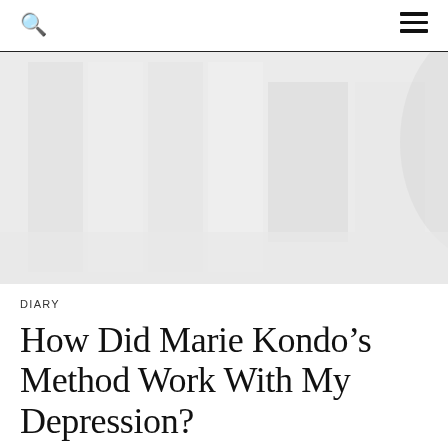[Figure (photo): A faded, light-washed photograph of a bedroom or living space interior, very light and nearly washed out in white and pale greys.]
DIARY
How Did Marie Kondo’s Method Work With My Depression?